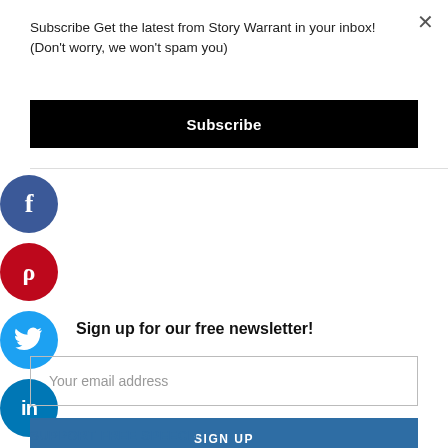Subscribe Get the latest from Story Warrant in your inbox! (Don't worry, we won't spam you)
×
Subscribe
[Figure (illustration): Facebook circular social share button (dark blue circle with white 'f' icon)]
[Figure (illustration): Pinterest circular social share button (red circle with white 'p' icon)]
[Figure (illustration): Twitter circular social share button (light blue circle with white bird icon)]
[Figure (illustration): LinkedIn circular social share button (dark blue circle with white 'in' icon)]
Sign up for our free newsletter!
Your email address
SIGN UP
SUPPORT FREE SPEECH